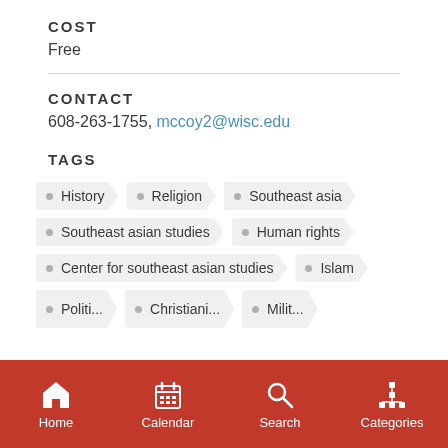COST
Free
CONTACT
608-263-1755, mccoy2@wisc.edu
TAGS
History
Religion
Southeast asia
Southeast asian studies
Human rights
Center for southeast asian studies
Islam
Politi...
Christiani...
Milit...
Home  Calendar  Search  Categories